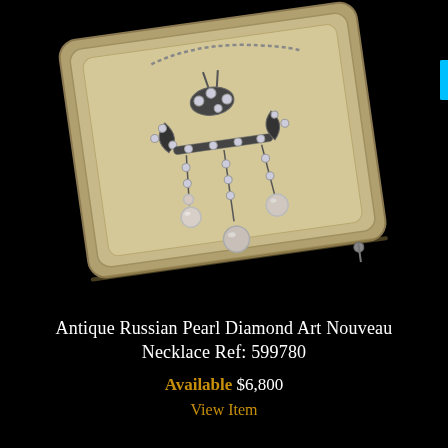[Figure (photo): Antique jewelry necklace with pearl and diamond Art Nouveau pendant displayed in an open cream-colored jewelry box, photographed against a black background. The pendant features multiple dangling strands with diamonds and pearls at the ends.]
Antique Russian Pearl Diamond Art Nouveau Necklace Ref: 599780
Available $6,800
View Item